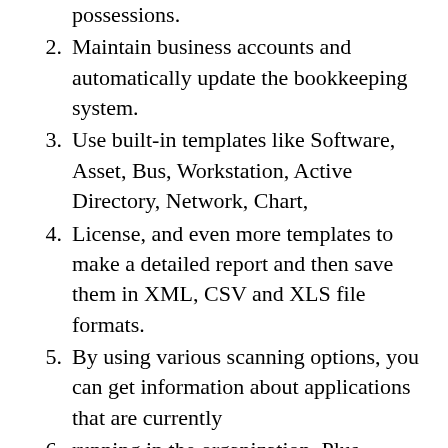possessions.
2. Maintain business accounts and automatically update the bookkeeping system.
3. Use built-in templates like Software, Asset, Bus, Workstation, Active Directory, Network, Chart,
4. License, and even more templates to make a detailed report and then save them in XML, CSV and XLS file formats.
5. By using various scanning options, you can get information about applications that are currently
6. running in the organization. Plus Lansweeper guarantees you to retain programs and OS up-to-date.